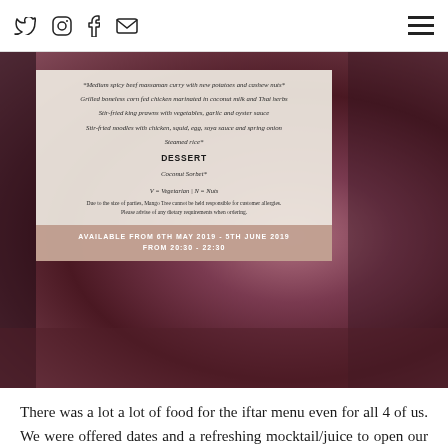Social media icons (Twitter, Instagram, Facebook, Mail) and hamburger menu
[Figure (photo): A photograph of a restaurant menu card placed on a dark metallic/copper surface. The menu card shows dessert section with 'Coconut Sorbet*', notes about vegetarian and halal options, disclaimer text, and availability dates 'AVAILABLE FROM 6TH MAY 2019 - 5TH JUNE 2019, FROM 20:30 - 22:30' on a rose-copper footer band.]
There was a lot a lot of food for the iftar menu even for all 4 of us. We were offered dates and a refreshing mocktail/juice to open our fast, which was shortly followed by a platter of starters – vegetable spring roll with chilli sauce, chicken satay with peanut